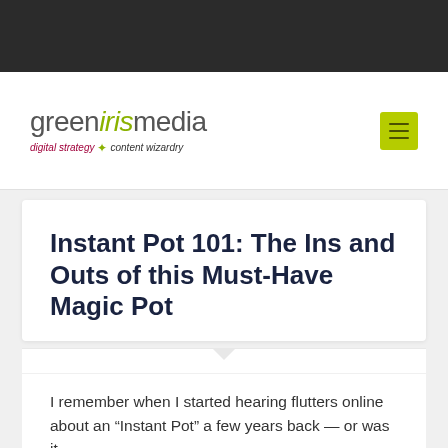Green Iris Media — digital strategy · content wizardry
Instant Pot 101: The Ins and Outs of this Must-Have Magic Pot
I remember when I started hearing flutters online about an “Instant Pot” a few years back — or was it